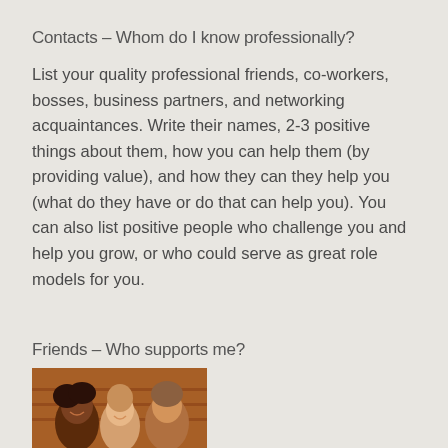Contacts – Whom do I know professionally?
List your quality professional friends, co-workers, bosses, business partners, and networking acquaintances. Write their names, 2-3 positive things about them, how you can help them (by providing value), and how they can they help you (what do they have or do that can help you). You can also list positive people who challenge you and help you grow, or who could serve as great role models for you.
Friends – Who supports me?
[Figure (photo): A group of smiling friends together]